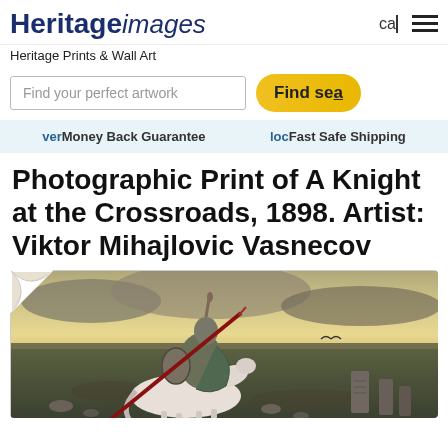Heritage images  cal ☰
Heritage Prints & Wall Art
Find your perfect artwork  Find sea
ver Money Back Guarantee  loc Fast Safe Shipping
Photographic Print of A Knight at the Crossroads, 1898. Artist: Viktor Mihajlovic Vasnecov
[Figure (photo): A painting showing a knight in armor on a white horse at a crossroads, holding a spear and shield, with a dramatic landscape and cloudy sky in the background. Stone markers visible to the right. A bird flies in the distance.]